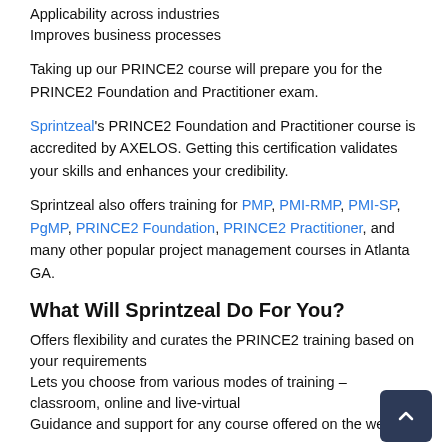Applicability across industries
Improves business processes
Taking up our PRINCE2 course will prepare you for the PRINCE2 Foundation and Practitioner exam.
Sprintzeal's PRINCE2 Foundation and Practitioner course is accredited by AXELOS. Getting this certification validates your skills and enhances your credibility.
Sprintzeal also offers training for PMP, PMI-RMP, PMI-SP, PgMP, PRINCE2 Foundation, PRINCE2 Practitioner, and many other popular project management courses in Atlanta GA.
What Will Sprintzeal Do For You?
Offers flexibility and curates the PRINCE2 training based on your requirements
Lets you choose from various modes of training – classroom, online and live-virtual
Guidance and support for any course offered on the website